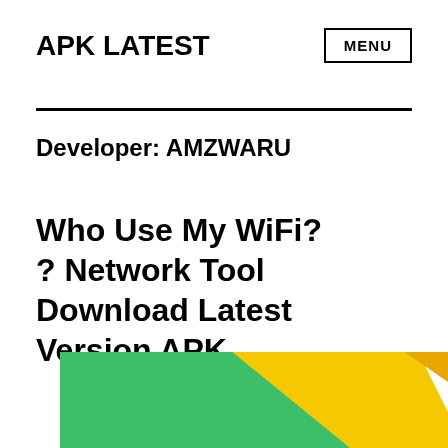APK LATEST
MENU
Developer: AMZWARU
Who Use My WiFi? ? Network Tool Download Latest Version APK
[Figure (illustration): App icon thumbnail showing a green and yellow diagonal striped rounded rectangle, partially cropped at the bottom of the page.]